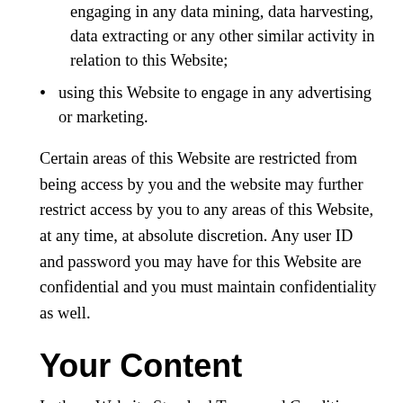engaging in any data mining, data harvesting, data extracting or any other similar activity in relation to this Website;
using this Website to engage in any advertising or marketing.
Certain areas of this Website are restricted from being access by you and the website may further restrict access by you to any areas of this Website, at any time, at absolute discretion. Any user ID and password you may have for this Website are confidential and you must maintain confidentiality as well.
Your Content
In these Website Standard Terms and Conditions,